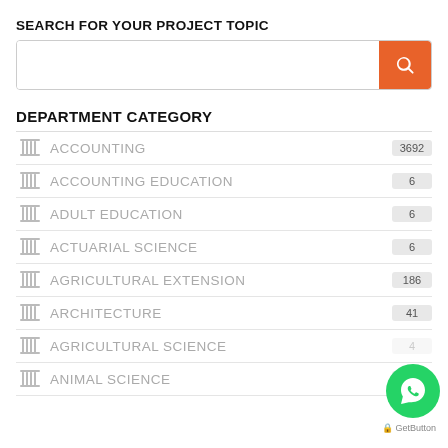SEARCH FOR YOUR PROJECT TOPIC
[Figure (screenshot): Search bar with orange search button containing a magnifying glass icon]
DEPARTMENT CATEGORY
ACCOUNTING 3692
ACCOUNTING EDUCATION 6
ADULT EDUCATION 6
ACTUARIAL SCIENCE 6
AGRICULTURAL EXTENSION 186
ARCHITECTURE 41
AGRICULTURAL SCIENCE 4
ANIMAL SCIENCE 49